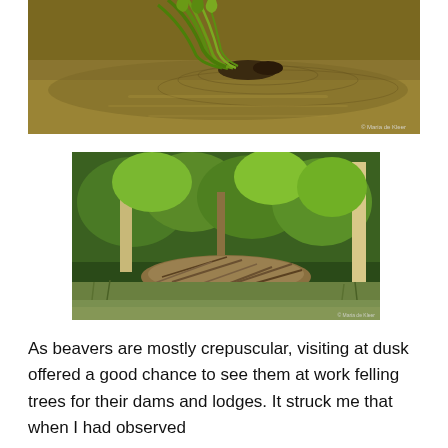[Figure (photo): A beaver swimming in brownish-green water, carrying green reeds or grass in its mouth, with ripples spreading across the surface. Photo credit: © Maria de Kleer]
[Figure (photo): A beaver lodge or dam made of sticks and branches, set among green trees and shrubs at the water's edge. Photo credit visible in bottom right corner.]
As beavers are mostly crepuscular, visiting at dusk offered a good chance to see them at work felling trees for their dams and lodges. It struck me that when I had observed